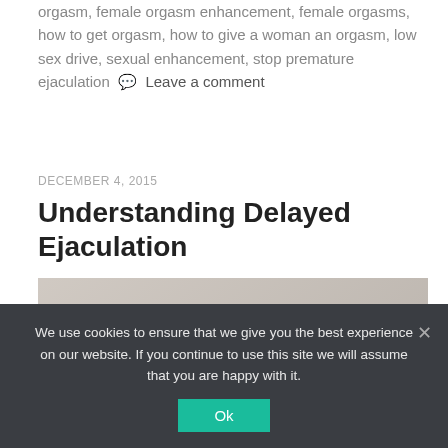orgasm, female orgasm enhancement, female orgasms, how to get orgasm, how to give a woman an orgasm, low sex drive, sexual enhancement, stop premature ejaculation 🗨 Leave a comment
DECEMBER 4, 2015
Understanding Delayed Ejaculation
[Figure (photo): A man and woman sitting back-to-back on a bed, both looking distressed or upset. The man is wearing a white t-shirt and the woman is wearing a grey top. They appear to be in conflict or emotional distress.]
We use cookies to ensure that we give you the best experience on our website. If you continue to use this site we will assume that you are happy with it.